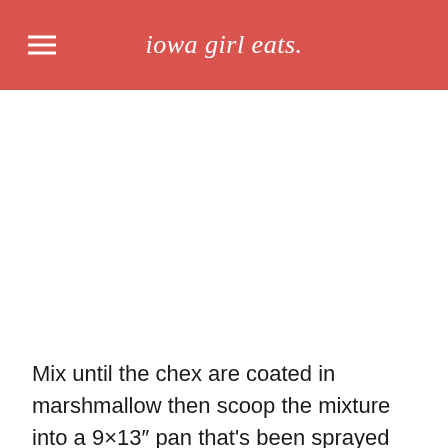iowa girl eats.
[Figure (photo): White/blank image area placeholder where a food photo would appear]
Mix until the chex are coated in marshmallow then scoop the mixture into a 9×13″ pan that's been sprayed with nonstick spray. Press into an even layer using the bottom of a glass or measuring dish that's